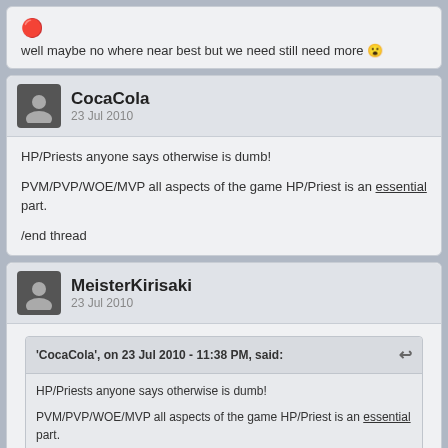well maybe no where near best but we need still need more 😮
CocaCola
23 Jul 2010
HP/Priests anyone says otherwise is dumb!

PVM/PVP/WOE/MVP all aspects of the game HP/Priest is an essential part.

/end thread
MeisterKirisaki
23 Jul 2010
'CocaCola', on 23 Jul 2010 - 11:38 PM, said:
HP/Priests anyone says otherwise is dumb!

PVM/PVP/WOE/MVP all aspects of the game HP/Priest is an essential part.